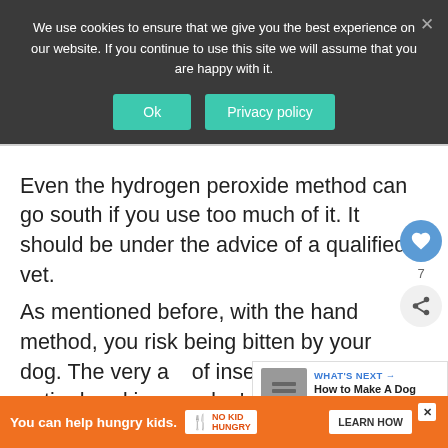We use cookies to ensure that we give you the best experience on our website. If you continue to use this site we will assume that you are happy with it.
Even the hydrogen peroxide method can go south if you use too much of it. It should be under the advice of a qualified vet.
As mentioned before, with the hand method, you risk being bitten by your dog. The very act of inserting your entire hand in your dog's jaws is far too dangerous.
[Figure (screenshot): What's Next widget showing 'How to Make A Dog Vomit...' with a jar image thumbnail]
Most dogs will not like it very much and will try to ... is jaws,
[Figure (screenshot): Advertisement banner: 'You can help hungry kids.' with No Kid Hungry logo and LEARN HOW button]